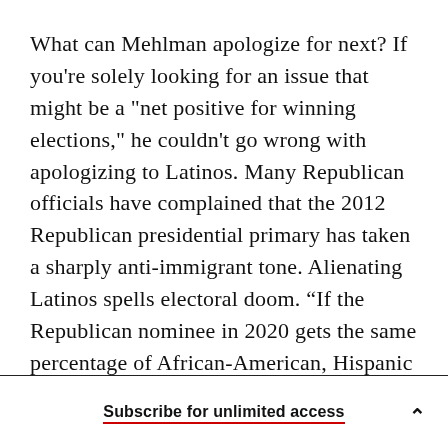What can Mehlman apologize for next? If you're solely looking for an issue that might be a "net positive for winning elections," he couldn't go wrong with apologizing to Latinos. Many Republican officials have complained that the 2012 Republican presidential primary has taken a sharply anti-immigrant tone. Alienating Latinos spells electoral doom. “If the Republican nominee in 2020 gets the same percentage of African-American, Hispanic and Asian-American votes that Sen. McCain got, the Democrat will win by 14
Subscribe for unlimited access